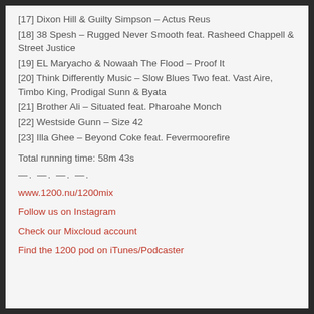[17] Dixon Hill & Guilty Simpson – Actus Reus
[18] 38 Spesh – Rugged Never Smooth feat. Rasheed Chappell & Street Justice
[19] EL Maryacho & Nowaah The Flood – Proof It
[20] Think Differently Music – Slow Blues Two feat. Vast Aire, Timbo King, Prodigal Sunn & Byata
[21] Brother Ali – Situated feat. Pharoahe Monch
[22] Westside Gunn – Size 42
[23] Illa Ghee – Beyond Coke feat. Fevermoorefire
Total running time: 58m 43s
—. —. —. —.
www.1200.nu/1200mix
Follow us on Instagram
Check our Mixcloud account
Find the 1200 pod on iTunes/Podcaster